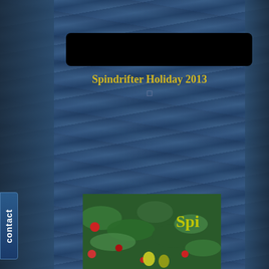[Figure (screenshot): Ocean water texture background — dark blue wavy water covering the full page]
[Figure (other): Black rounded rectangle bar at the top center of the content area, covering a logo or header image]
Spindrifter Holiday 2013
□
Spindrifter's new album
OUT for Christmas!
Happy Holiday!
I wish you a Merry Christmas!
[Figure (photo): Partial view of an album cover showing Christmas greenery with red decorations and 'Spi' text visible in yellow]
contact